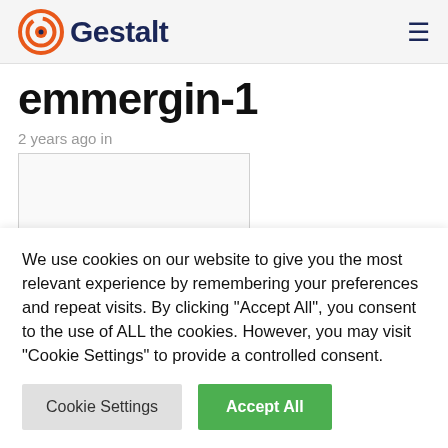Gestalt
emmergin-1
2 years ago in
[Figure (other): Partially visible image placeholder with light gray background and border]
We use cookies on our website to give you the most relevant experience by remembering your preferences and repeat visits. By clicking "Accept All", you consent to the use of ALL the cookies. However, you may visit "Cookie Settings" to provide a controlled consent.